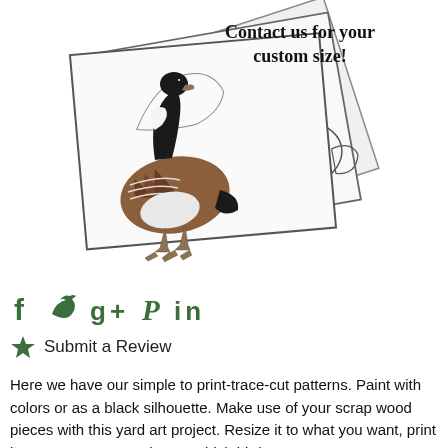[Figure (illustration): A Canada goose standing on top of tilted paper sheets showing bird outline patterns (coloring page patterns for yard art). Text overlay reads 'Contact us for your custom size!']
[Figure (infographic): Social media icons: Facebook (f), Twitter (bird), Google+ (g+), Pinterest (P), LinkedIn (in) — all in dark green color]
Submit a Review
Here we have our simple to print-trace-cut patterns. Paint with colors or as a black silhouette. Make use of your scrap wood pieces with this yard art project. Resize it to what you want, print it to your computer, choose which bird you want to